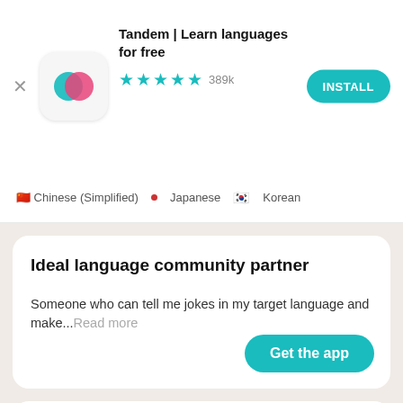[Figure (screenshot): Tandem app icon — teal and pink overlapping circles on white rounded square background]
Tandem | Learn languages for free
★★★★½ 389k
INSTALL
🇨🇳 Chinese (Simplified) • Japanese 🇰🇷 Korean
Ideal language community partner
Someone who can tell me jokes in my target language and make...Read more
Get the app
Zahed
Utrecht